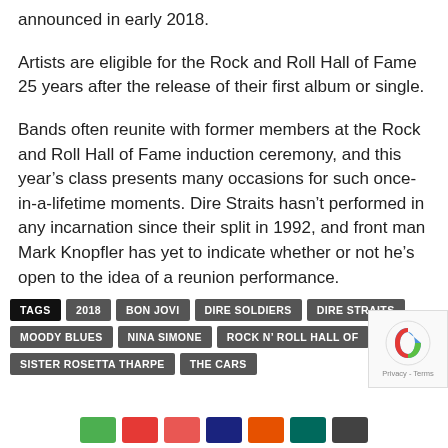announced in early 2018.
Artists are eligible for the Rock and Roll Hall of Fame 25 years after the release of their first album or single.
Bands often reunite with former members at the Rock and Roll Hall of Fame induction ceremony, and this year’s class presents many occasions for such once-in-a-lifetime moments. Dire Straits hasn’t performed in any incarnation since their split in 1992, and front man Mark Knopfler has yet to indicate whether or not he’s open to the idea of a reunion performance.
TAGS: 2018, BON JOVI, DIRE SOLDIERS, DIRE STRAITS, MOODY BLUES, NINA SIMONE, ROCK N' ROLL HALL OF, SISTER ROSETTA THARPE, THE CARS